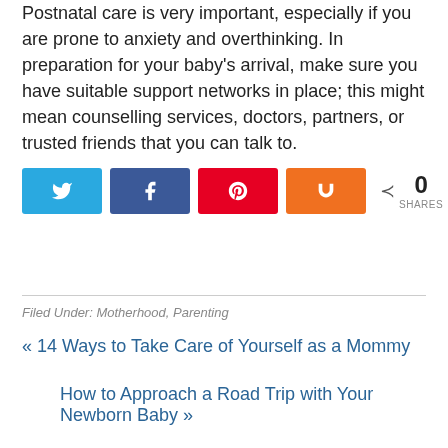Postnatal care is very important, especially if you are prone to anxiety and overthinking. In preparation for your baby's arrival, make sure you have suitable support networks in place; this might mean counselling services, doctors, partners, or trusted friends that you can talk to.
[Figure (infographic): Social sharing buttons: Twitter (blue), Facebook (dark blue), Pinterest (red), Mix (orange), and a share count showing 0 SHARES]
Filed Under: Motherhood, Parenting
« 14 Ways to Take Care of Yourself as a Mommy
How to Approach a Road Trip with Your Newborn Baby »